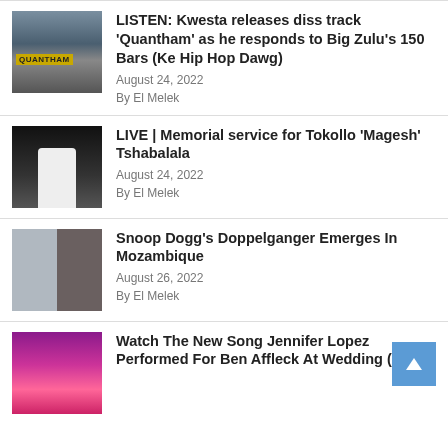LISTEN: Kwesta releases diss track ‘Quantham’ as he responds to Big Zulu’s 150 Bars (Ke Hip Hop Dawg)
August 24, 2022
By El Melek
LIVE | Memorial service for Tokollo ‘Magesh’ Tshabalala
August 24, 2022
By El Melek
Snoop Dogg’s Doppelganger Emerges In Mozambique
August 26, 2022
By El Melek
Watch The New Song Jennifer Lopez Performed For Ben Affleck At Wedding (Video)